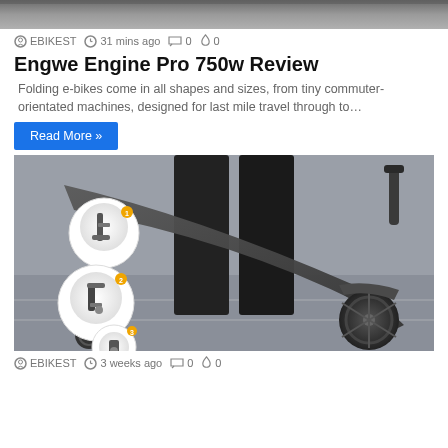[Figure (photo): Top portion of a scooter or e-bike photo, partially cropped at top of page]
EBIKEST  31 mins ago  0  0
Engwe Engine Pro 750w Review
Folding e-bikes come in all shapes and sizes, from tiny commuter-orientated machines, designed for last mile travel through to…
Read More »
[Figure (photo): Person in black clothing holding a folded electric scooter, showing the frame and wheels, with three circular inset detail images of folding mechanism components]
EBIKEST  3 weeks ago  0  0